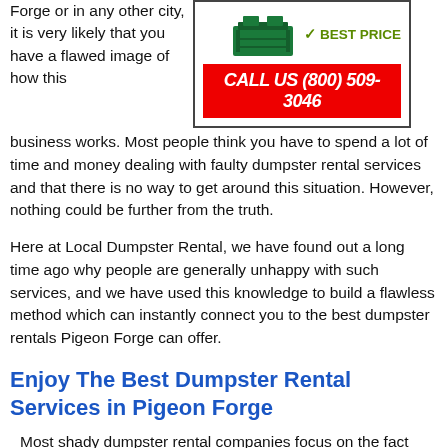Forge or in any other city, it is very likely that you have a flawed image of how this business works. Most people think you have to spend a lot of time and money dealing with faulty dumpster rental services and that there is no way to get around this situation. However, nothing could be further from the truth.
[Figure (other): Advertisement box with a dumpster image, a green checkmark with BEST PRICE text, and a red banner reading CALL US (800) 509-3046]
Here at Local Dumpster Rental, we have found out a long time ago why people are generally unhappy with such services, and we have used this knowledge to build a flawless method which can instantly connect you to the best dumpster rentals Pigeon Forge can offer.
Enjoy The Best Dumpster Rental Services in Pigeon Forge
Most shady dumpster rental companies focus on the fact that people who are in the market for dumpster rentals only do this kind of things once every few years, so they put very little emphasis on keeping customers happy.